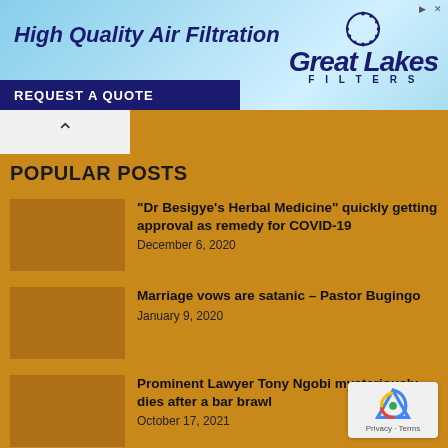[Figure (other): Advertisement banner for Great Lakes Filters - High Quality Air Filtration with blue sky background and REQUEST A QUOTE button]
POPULAR POSTS
“Dr Besigye’s Herbal Medicine” quickly getting approval as remedy for COVID-19 | December 6, 2020
Marriage vows are satanic – Pastor Bugingo | January 9, 2020
Prominent Lawyer Tony Ngobi mysteriously dies after a bar brawl | October 17, 2021